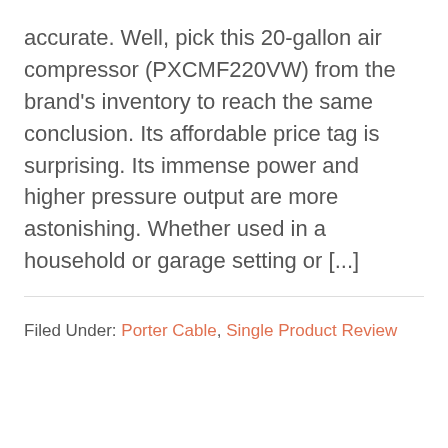accurate. Well, pick this 20-gallon air compressor (PXCMF220VW) from the brand's inventory to reach the same conclusion. Its affordable price tag is surprising. Its immense power and higher pressure output are more astonishing. Whether used in a household or garage setting or [...]
Filed Under: Porter Cable, Single Product Review